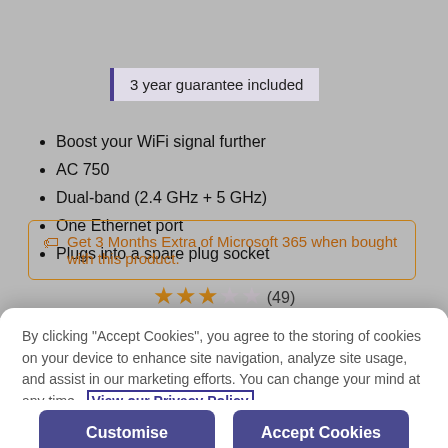[Figure (photo): Product image of a WiFi extender/booster device, partially visible at top]
3 year guarantee included
Boost your WiFi signal further
AC 750
Dual-band (2.4 GHz + 5 GHz)
One Ethernet port
Plugs into a spare plug socket
Get 3 Months Extra of Microsoft 365 when bought with this product.
★★★☆☆ (49)
By clicking "Accept Cookies", you agree to the storing of cookies on your device to enhance site navigation, analyze site usage, and assist in our marketing efforts. You can change your mind at any time. View our Privacy Policy View our Cookies Policy
Customise
Accept Cookies